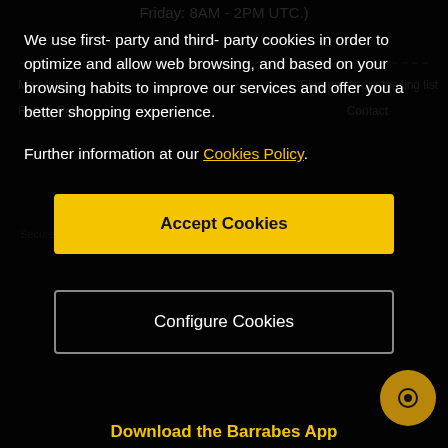Friday: 8AM - 2PM UTC.)
My profile
Sign up for our mailing list
Return Policy
Contact
We use first- party and third- party cookies in order to optimize and allow web browsing, and based on your browsing habits to improve our services and offer you a better shopping experience.
Further information at our Cookies Policy.
Accept Cookies
Configure Cookies
Secure Online Payment
Download the Barrabes App